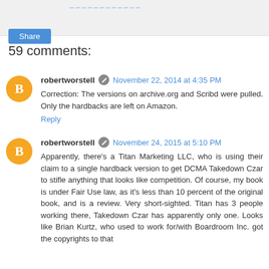Share
59 comments:
robertworstell November 22, 2014 at 4:35 PM
Correction: The versions on archive.org and Scribd were pulled. Only the hardbacks are left on Amazon.
Reply
robertworstell November 24, 2015 at 5:10 PM
Apparently, there's a Titan Marketing LLC, who is using their claim to a single hardback version to get DCMA Takedown Czar to stifle anything that looks like competition. Of course, my book is under Fair Use law, as it's less than 10 percent of the original book, and is a review. Very short-sighted. Titan has 3 people working there, Takedown Czar has apparently only one. Looks like Brian Kurtz, who used to work for/with Boardroom Inc. got the copyrights to that